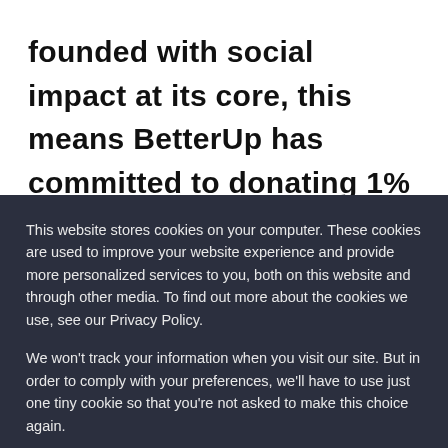founded with social impact at its core, this means BetterUp has committed to donating 1% of our equity, staff time, product, and profit to invest in unlocking human potential and opportunity in the communities where we live and work. We're grateful to our partner organizations for paving
This website stores cookies on your computer. These cookies are used to improve your website experience and provide more personalized services to you, both on this website and through other media. To find out more about the cookies we use, see our Privacy Policy.
We won't track your information when you visit our site. But in order to comply with your preferences, we'll have to use just one tiny cookie so that you're not asked to make this choice again.